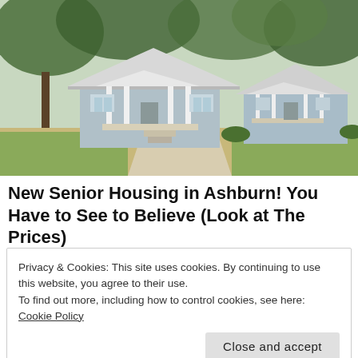[Figure (photo): Photograph of two small light-blue cottage-style houses with white front porches and columns, surrounded by trees, with a concrete driveway in front.]
New Senior Housing in Ashburn! You Have to See to Believe (Look at The Prices)
Privacy & Cookies: This site uses cookies. By continuing to use this website, you agree to their use.
To find out more, including how to control cookies, see here: Cookie Policy